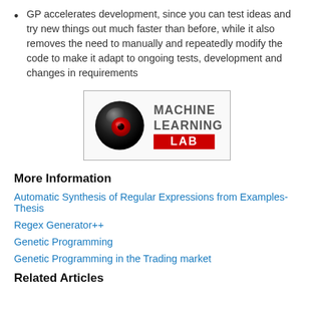GP accelerates development, since you can test ideas and try new things out much faster than before, while it also removes the need to manually and repeatedly modify the code to make it adapt to ongoing tests, development and changes in requirements
[Figure (logo): Machine Learning Lab logo: a dark spherical eye with red iris on the left, and 'MACHINE LEARNING' in dark grey bold text with 'LAB' on a red rectangle below, all inside a thin black border box]
More Information
Automatic Synthesis of Regular Expressions from Examples-Thesis
Regex Generator++
Genetic Programming
Genetic Programming in the Trading market
Related Articles